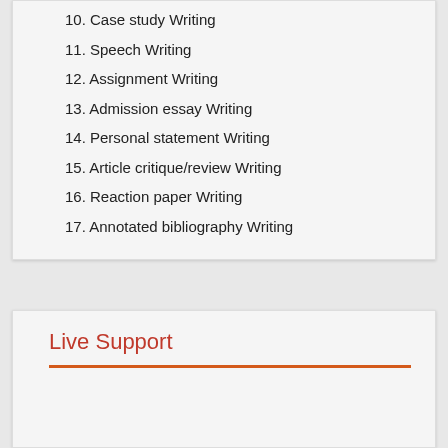10. Case study Writing
11. Speech Writing
12. Assignment Writing
13. Admission essay Writing
14. Personal statement Writing
15. Article critique/review Writing
16. Reaction paper Writing
17. Annotated bibliography Writing
Live Support